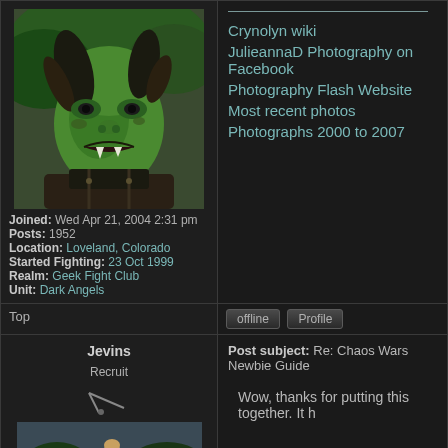[Figure (photo): Profile photo of person with green orc makeup]
Joined: Wed Apr 21, 2004 2:31 pm
Posts: 1952
Location: Loveland, Colorado
Started Fighting: 23 Oct 1999
Realm: Geek Fight Club
Unit: Dark Angels
Crynolyn wiki
JulieannaD Photography on Facebook
Photography Flash Website
Most recent photos
Photographs 2000 to 2007
Top
offline   Profile
Jevins
Post subject: Re: Chaos Wars Newbie Guide
Recruit
[Figure (photo): Small icon/avatar graphic]
[Figure (photo): Photo of person outdoors]
Wow, thanks for putting this together. It h